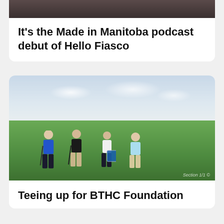[Figure (photo): Top portion of a card showing people, partially cropped at top of page]
It's the Made in Manitoba podcast debut of Hello Fiasco
[Figure (photo): Four men standing on a golf course holding golf clubs, one holding a BTHC Foundation sign]
Teeing up for BTHC Foundation